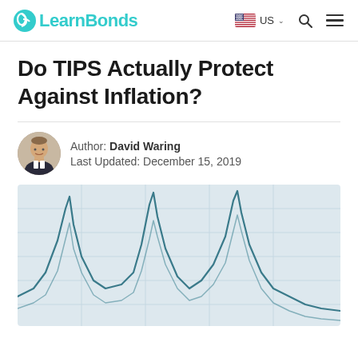LearnBonds — US
Do TIPS Actually Protect Against Inflation?
Author: David Waring
Last Updated: December 15, 2019
[Figure (photo): Close-up photograph of a financial chart or graph printed on paper, showing jagged line chart curves in teal/dark blue ink on a light gridded background.]